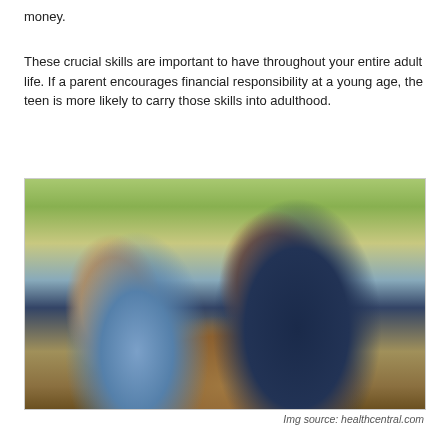money.
These crucial skills are important to have throughout your entire adult life. If a parent encourages financial responsibility at a young age, the teen is more likely to carry those skills into adulthood.
[Figure (photo): A father and teenage son sitting on a park bench, facing each other in conversation. The father is wearing a dark navy polo shirt and the son is wearing a light blue shirt. Green trees and a path are visible in the background.]
Img source: healthcentral.com